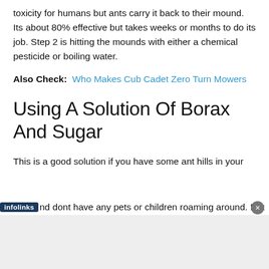toxicity for humans but ants carry it back to their mound. Its about 80% effective but takes weeks or months to do its job. Step 2 is hitting the mounds with either a chemical pesticide or boiling water.
Also Check: Who Makes Cub Cadet Zero Turn Mowers
Using A Solution Of Borax And Sugar
This is a good solution if you have some ant hills in your [infolinks] nd dont have any pets or children roaming around. Mix